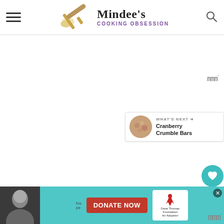[Figure (logo): Mindee's Cooking Obsession logo with rolling pin graphic, hamburger menu icon on left, search icon on right]
[Figure (screenshot): Main content area showing a mostly white/grey page with social sharing buttons (heart with 652 count, share button) and a 'What's Next' card showing Cranberry Crumble Bars]
[Figure (infographic): Footer advertisement bar with Dave Thomas Foundation for Adoption donate now banner in teal, with a woman's photo on left and Mediavine badge on right]